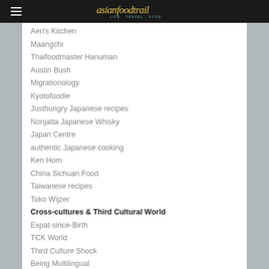asianfoodtrail LIFE TRAVEL FOOD
Aeri's Kitchen
Maangchi
Thaifoodmaster Hanuman
Austin Bush
Migrationology
Kyotofoodie
Justhungry Japanese recipes
Nonjatta Japanese Whisky
Japan Centre
authentic Japanese cooking
Ken Hom
China Sichuan Food
Taiwanese recipes
Toko Wijzer
Cross-cultures & Third Cultural World
Expat-since-Birth
TCK World
Third Culture Shock
Being Multilingual
8Asians
Global Asian Culture
Angry Asian Man
Arierang